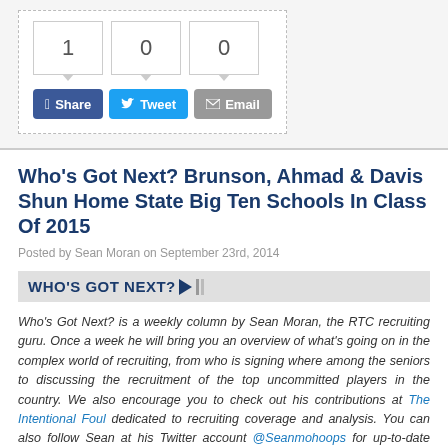[Figure (screenshot): Social share widget with counter boxes showing 1, 0, 0 and buttons for Facebook Share, Tweet, and Email]
Who's Got Next? Brunson, Ahmad & Davis Shun Home State Big Ten Schools In Class Of 2015
Posted by Sean Moran on September 23rd, 2014
[Figure (logo): WHO'S GOT NEXT? banner logo with arrow graphic]
Who's Got Next? is a weekly column by Sean Moran, the RTC recruiting guru. Once a week he will bring you an overview of what's going on in the complex world of recruiting, from who is signing where among the seniors to discussing the recruitment of the top uncommitted players in the country. We also encourage you to check out his contributions at The Intentional Foul dedicated to recruiting coverage and analysis. You can also follow Sean at his Twitter account @Seanmohoops for up-to-date news from the high school and college hoops scene. If you have any suggestions as to areas we are missing or different things you would like to see, please let us know at rushthecourt@yahoo.com.